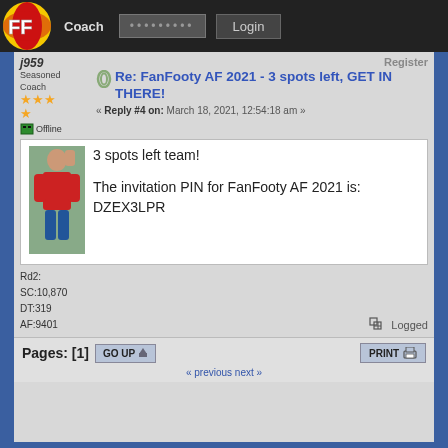Coach  •••••••••  Login
j959
Seasoned Coach
★★★
Offline
Register
Re: FanFooty AF 2021 - 3 spots left, GET IN THERE!
« Reply #4 on: March 18, 2021, 12:54:18 am »
3 spots left team!

The invitation PIN for FanFooty AF 2021 is: DZEX3LPR
Rd2:
SC:10,870
DT:319
AF:9401
Logged
Pages: [1]  GO UP  PRINT
« previous next »